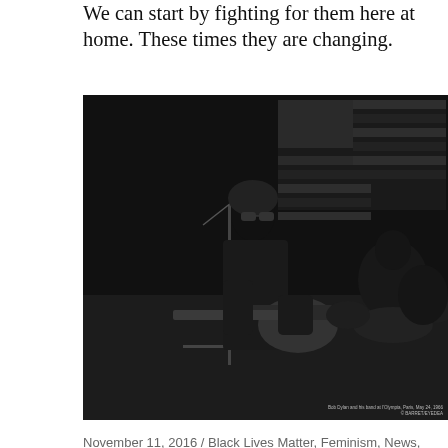We can start by fighting for them here at home. These times they are changing.
[Figure (photo): Black and white photograph of Bob Dylan and his band performing on stage at l'Olympia, Paris, May 24, 1966. Dylan plays guitar at a microphone stand, with an American flag visible in the background and a drummer behind him.]
Bob Dylan and his band at l'Olympia, Paris, May 24, 1966
© BARRET/EYEDEA
November 11, 2016  /  Black Lives Matter, Feminism, News, Personal  /  3 Comments
A Second Chance
[Figure (photo): Black and white photograph partially visible at the bottom of the page, showing two people.]